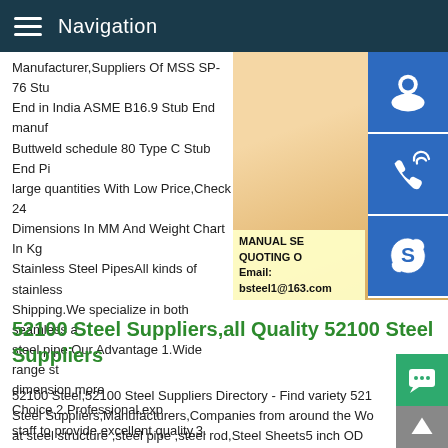Navigation
Manufacturer,Suppliers Of MSS SP-76 Stub End in India ASME B16.9 Stub End manufacturer Buttweld schedule 80 Type C Stub End Pipe large quantities With Low Price,Check 24 Dimensions In MM And Weight Chart In Kg. Stainless Steel PipesAll kinds of stainless Shipping.We specialize in both seamless and steel pipe.Our Advantage 1.Wide range st dimension,more Choice.2.Professional,exp staff to provide excellent quality.3.
[Figure (photo): Woman with headset smiling, contact service representative photo with blue icon buttons for chat, phone, and Skype on the right side. Contact overlay shows MANUAL SE, QUOTING O, Email: bsteel1@163.com]
52100 Steel Suppliers,all Quality 52100 Steel Suppliers
52100 Steel,52100 Steel Suppliers Directory - Find variety 52100 Steel Suppliers,Manufacturers,Companies from around the World at steel structure ,steel pipe ,steel rod,Steel Sheets5 inch OD Foot long Stainless Steel Straight Exhaust Sep 14, 2020 Low P